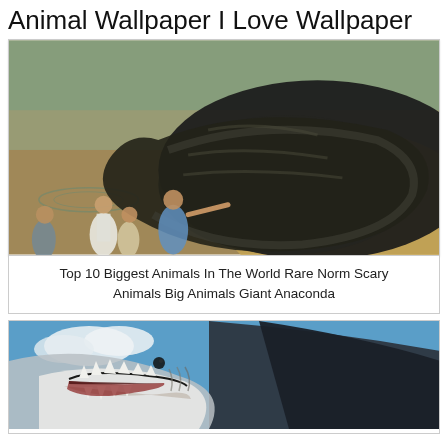Animal Wallpaper I Love Wallpaper
[Figure (photo): People standing in muddy water next to a giant anaconda snake coiled on a sandy bank]
Top 10 Biggest Animals In The World Rare Norm Scary Animals Big Animals Giant Anaconda
[Figure (photo): Close-up of a large shark with open mouth showing teeth, photographed from below against a blue sky]